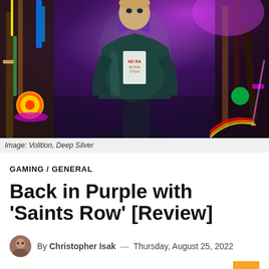[Figure (photo): A video game character in a dark jacket and purple hoodie standing in a vibrant, colorful urban alley scene from Saints Row]
Image: Volition, Deep Silver
GAMING / GENERAL
Back in Purple with 'Saints Row' [Review]
By Christopher Isak — Thursday, August 25, 2022
Approximately 9 minutes reading time